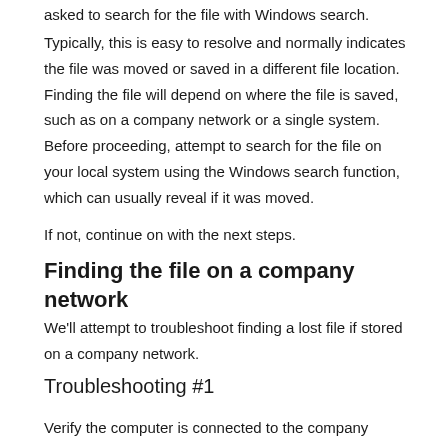asked to search for the file with Windows search.
Typically, this is easy to resolve and normally indicates the file was moved or saved in a different file location. Finding the file will depend on where the file is saved, such as on a company network or a single system. Before proceeding, attempt to search for the file on your local system using the Windows search function, which can usually reveal if it was moved.
If not, continue on with the next steps.
Finding the file on a company network
We'll attempt to troubleshoot finding a lost file if stored on a company network.
Troubleshooting #1
Verify the computer is connected to the company network. This is a simple ping test that will simply determine if the system is still